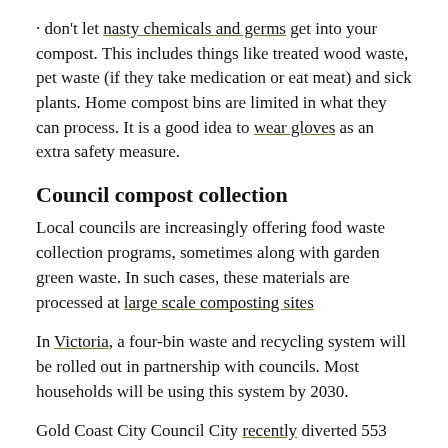· don't let nasty chemicals and germs get into your compost. This includes things like treated wood waste, pet waste (if they take medication or eat meat) and sick plants. Home compost bins are limited in what they can process. It is a good idea to wear gloves as an extra safety measure.
Council compost collection
Local councils are increasingly offering food waste collection programs, sometimes along with garden green waste. In such cases, these materials are processed at large scale composting sites
In Victoria, a four-bin waste and recycling system will be rolled out in partnership with councils. Most households will be using this system by 2030.
Gold Coast City Council City recently diverted 553 tonnes of food waste from landfill during a one-year trial. The program helps address home composting space challenges for the region's many apartment and high-rise dwellers